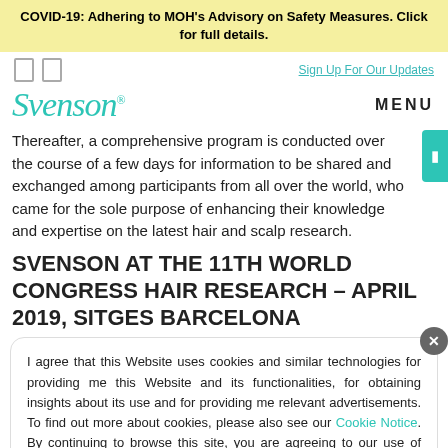COVID-19: Adhering to MOH's Advisory on Safety Measures. Click for full details.
Sign Up For Our Updates
[Figure (logo): Svenson logo in teal italic script font]
MENU
Thereafter, a comprehensive program is conducted over the course of a few days for information to be shared and exchanged among participants from all over the world, who came for the sole purpose of enhancing their knowledge and expertise on the latest hair and scalp research.
SVENSON AT THE 11TH WORLD CONGRESS HAIR RESEARCH – APRIL 2019, SITGES BARCELONA
I agree that this Website uses cookies and similar technologies for providing me this Website and its functionalities, for obtaining insights about its use and for providing me relevant advertisements. To find out more about cookies, please also see our Cookie Notice. By continuing to browse this site, you are agreeing to our use of cookies.
throughout their hair growth journey.